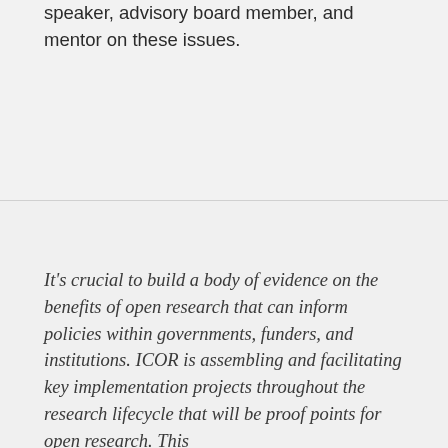speaker, advisory board member, and mentor on these issues.
It's crucial to build a body of evidence on the benefits of open research that can inform policies within governments, funders, and institutions. ICOR is assembling and facilitating key implementation projects throughout the research lifecycle that will be proof points for open research. This